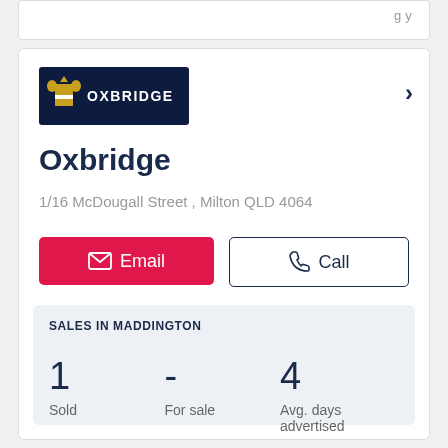[Figure (logo): Oxbridge real estate agency logo — dark navy background with gold/blue crest and white text OXBRIDGE]
Oxbridge
1/16 McDougall Street , Milton QLD 4064
Email
Call
SALES IN MADDINGTON
| Sold | For sale | Avg. days advertised |
| --- | --- | --- |
| 1 | - | 4 |